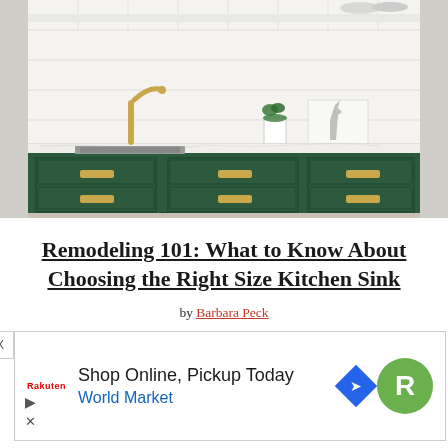[Figure (photo): Kitchen photo showing a dark green cabinet with brass hardware and multiple drawers, a white marble countertop, an undermount sink with a gold faucet, white subway tile backsplash, open shelving above, a small potted plant and a giraffe print art piece on the counter.]
Remodeling 101: What to Know About Choosing the Right Size Kitchen Sink
by Barbara Peck
[Figure (screenshot): Advertisement banner: Shop Online, Pickup Today - World Market, with Roadrunner badge logo and navigation arrow icon. Has a close X button and play/close icons.]